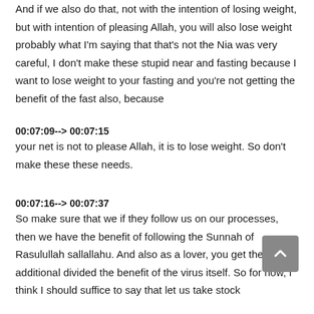And if we also do that, not with the intention of losing weight, but with intention of pleasing Allah, you will also lose weight probably what I'm saying that that's not the Nia was very careful, I don't make these stupid near and fasting because I want to lose weight to your fasting and you're not getting the benefit of the fast also, because
00:07:09--> 00:07:15
your net is not to please Allah, it is to lose weight. So don't make these these needs.
00:07:16--> 00:07:37
So make sure that we if they follow us on our processes, then we have the benefit of following the Sunnah of Rasulullah sallallahu. And also as a lover, you get the additional divided the benefit of the virus itself. So for now, I think I should suffice to say that let us take stock